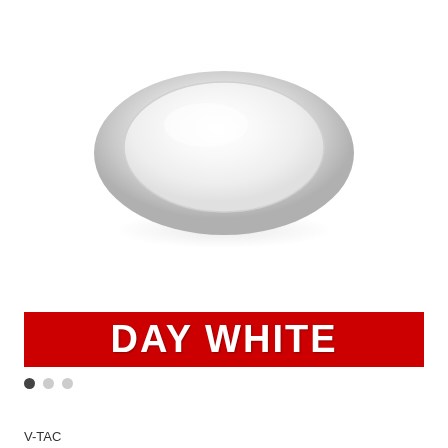[Figure (photo): Round white LED ceiling light fixture photographed from a slight top-down angle against a white background. The fixture has a wide circular white base with a smooth dome-shaped diffuser in the center.]
DAY WHITE
V-TAC